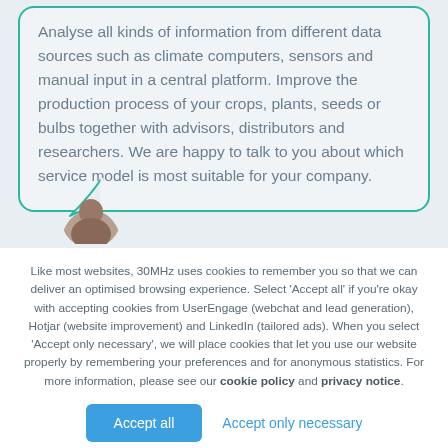Analyse all kinds of information from different data sources such as climate computers, sensors and manual input in a central platform. Improve the production process of your crops, plants, seeds or bulbs together with advisors, distributors and researchers. We are happy to talk to you about which service model is most suitable for your company.
[Figure (photo): Circular avatar photo of a person, partially visible at bottom of speech bubble area]
Like most websites, 30MHz uses cookies to remember you so that we can deliver an optimised browsing experience. Select ‘Accept all’ if you’re okay with accepting cookies from UserEngage (webchat and lead generation), Hotjar (website improvement) and LinkedIn (tailored ads). When you select ‘Accept only necessary’, we will place cookies that let you use our website properly by remembering your preferences and for anonymous statistics. For more information, please see our cookie policy and privacy notice.